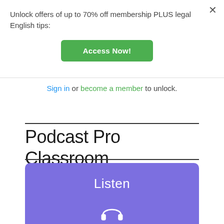Unlock offers of up to 70% off membership PLUS legal English tips:
[Figure (other): Green 'Access Now!' button]
Sign in or become a member to unlock.
Podcast Pro Classroom
[Figure (illustration): Purple card with 'Listen' text and headphone icon]